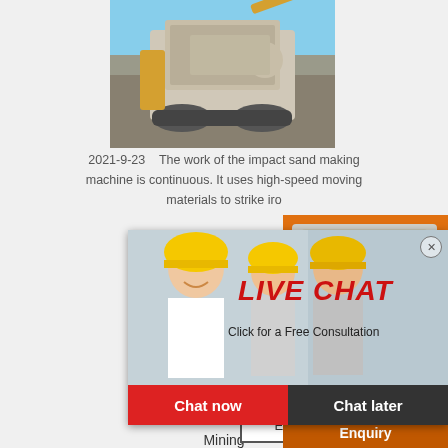[Figure (photo): Mining/construction machinery (crusher or sand making machine) photographed outdoors against blue sky]
2021-9-23   The work of the impact sand making machine is continuous. It uses high-speed moving materials to strike iro
[Figure (screenshot): Live chat popup overlay with workers in hard hats, red LIVE CHAT text, 'Click for a Free Consultation', Chat now and Chat later buttons]
[Figure (infographic): Orange right sidebar with machinery product images, Enjoy 3% discount, Click to Chat, Enquiry, mumumugoods@gmail.com]
More
Get Price
Email contact
China Best
Mining